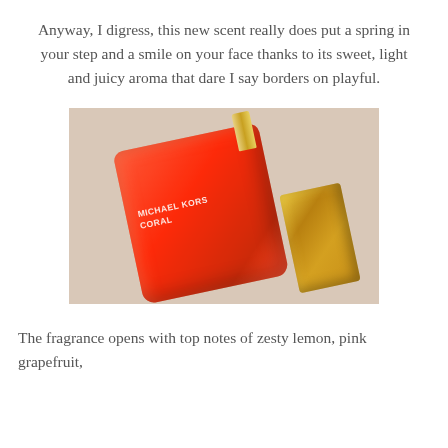Anyway, I digress, this new scent really does put a spring in your step and a smile on your face thanks to its sweet, light and juicy aroma that dare I say borders on playful.
[Figure (photo): Michael Kors Coral perfume bottle lying at an angle showing the coral/orange-red glass bottle with gold spray nozzle, with the gold cap placed beside it, on a light beige background. The bottle label reads MICHAEL KORS CORAL.]
The fragrance opens with top notes of zesty lemon, pink grapefruit,